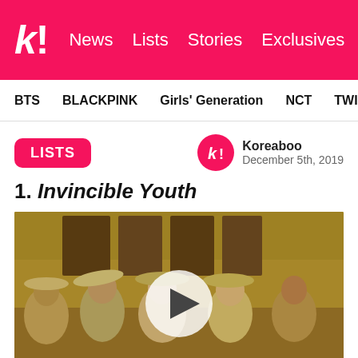k! News Lists Stories Exclusives
BTS BLACKPINK Girls' Generation NCT TWICE aespa
LISTS
Koreaboo
December 5th, 2019
1. Invincible Youth
[Figure (photo): Video thumbnail showing a group of young women wearing traditional Korean straw hats outdoors, with Korean characters visible in the background. A play button overlay is centered on the image.]